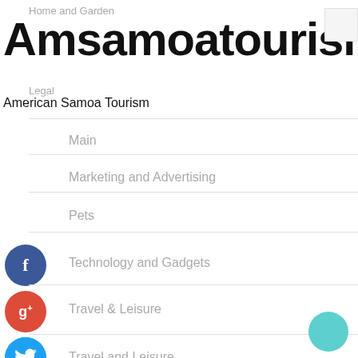Home and Garden
Amsamoatourism
Legal
American Samoa Tourism
Main
Marketing and Advertising
Pets
Technology and Gadgets
Travel & Leisure
Travel and Leisure